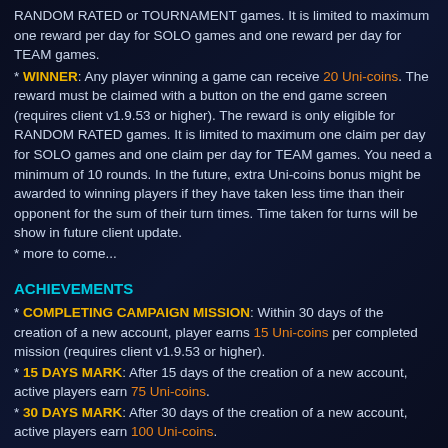RANDOM RATED or TOURNAMENT games. It is limited to maximum one reward per day for SOLO games and one reward per day for TEAM games.
* WINNER: Any player winning a game can receive 20 Uni-coins. The reward must be claimed with a button on the end game screen (requires client v1.9.53 or higher). The reward is only eligible for RANDOM RATED games. It is limited to maximum one claim per day for SOLO games and one claim per day for TEAM games. You need a minimum of 10 rounds. In the future, extra Uni-coins bonus might be awarded to winning players if they have taken less time than their opponent for the sum of their turn times. Time taken for turns will be show in future client update.
* more to come...
ACHIEVEMENTS
* COMPLETING CAMPAIGN MISSION: Within 30 days of the creation of a new account, player earns 15 Uni-coins per completed mission (requires client v1.9.53 or higher).
* 15 DAYS MARK: After 15 days of the creation of a new account, active players earn 75 Uni-coins.
* 30 DAYS MARK: After 30 days of the creation of a new account, active players earn 100 Uni-coins.
* UNI-VERSARY: When a player logs in on the day of his account anniversary (1st year, 2nd, ...), he receives a bonus 250 Uni-coins
* more to come...
This message was edited 6 times. Last update was at Nov 15, 2016 19:42